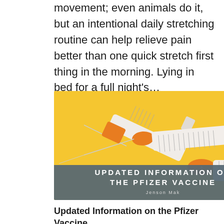movement; even animals do it, but an intentional daily stretching routine can help relieve pain better than one quick stretch first thing in the morning. Lying in bed for a full night's...
[Figure (photo): Photo of three medical syringes with orange caps and needles on a yellow background, with a dark gray banner overlay reading 'UPDATED INFORMATION ON THE PFIZER VACCINE' and author name 'Jenson Mak']
Updated Information on the Pfizer Vaccine